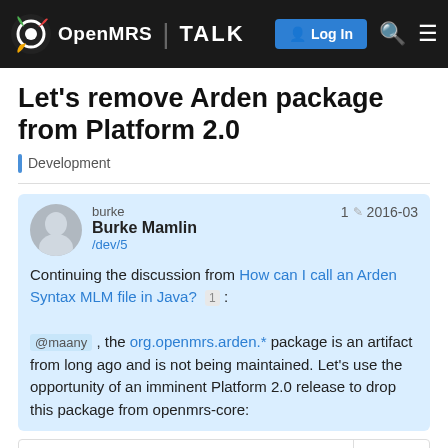OpenMRS TALK — Log In
Let’s remove Arden package from Platform 2.0
Development
burke
Burke Mamlin
/dev/5
1 2016-03
Continuing the discussion from How can I call an Arden Syntax MLM file in Java? 1 :

@maany , the org.openmrs.arden.* package is an artifact from long ago and is not being maintained. Let’s use the opportunity of an imminent Platform 2.0 release to drop this package from openmrs-core:
https://issues.openmrs.org/browse/TR
1 / 8